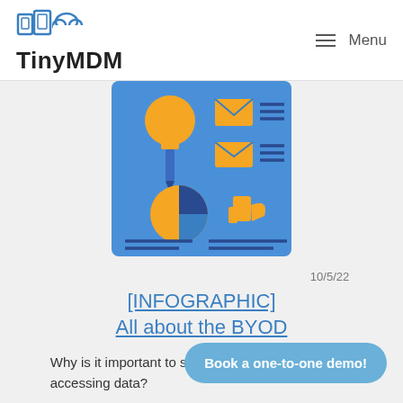TinyMDM  Menu
[Figure (infographic): Infographic illustration on blue background with a lightbulb, document with charts icons including pie chart, bar chart, envelope icons, and text lines - representing a BYOD/MDM infographic.]
10/5/22
[INFOGRAPHIC] All about the BYOD
Why is it important to secure smartphones accessing data?